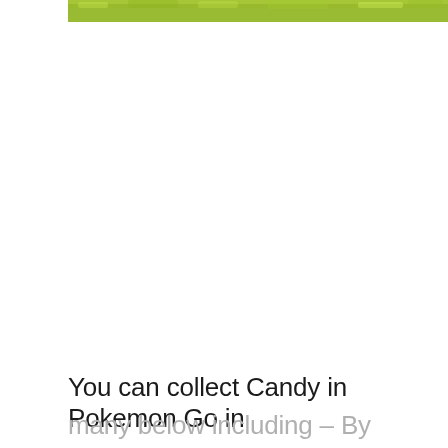[Figure (photo): A green grassy outdoor scene, cropped to a horizontal strip at the top of the page.]
You can collect Candy in Pokemon Go in
many below including – By catching more Pokemon, by hatching eggs, by transferring